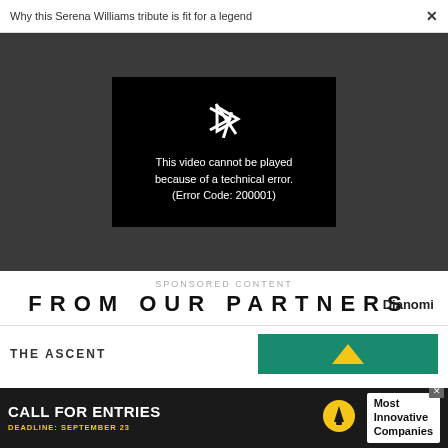Why this Serena Williams tribute is fit for a legend
[Figure (screenshot): Video player showing error message: This video cannot be played because of a technical error. (Error Code: 200001)]
SPONSORED CONTENT
FROM OUR PARTNERS
Dianomi
THE ASCENT
[Figure (screenshot): Advertisement banner: CALL FOR ENTRIES DEADLINE: SEPTEMBER 23 Most Innovative Companies]